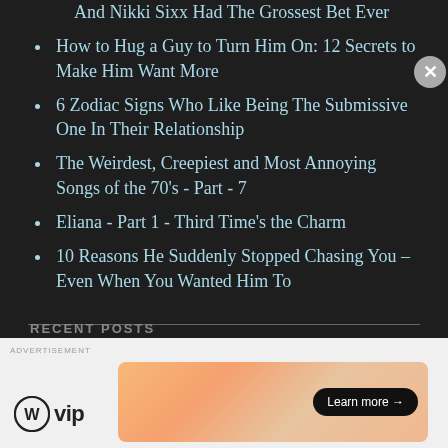And Nikki Sixx Had The Grossest Bet Ever
How to Hug a Guy to Turn Him On: 12 Secrets to Make Him Want More
6 Zodiac Signs Who Like Being The Submissive One In Their Relationship
The Weirdest, Creepiest and Most Annoying Songs of the 70's - Part - 7
Eliana - Part 1 - Third Time's the Charm
10 Reasons He Suddenly Stopped Chasing You – Even When You Wanted Him To
RECENT POSTS
[Figure (infographic): WordPress VIP advertisement banner with gradient orange background and Learn more button]